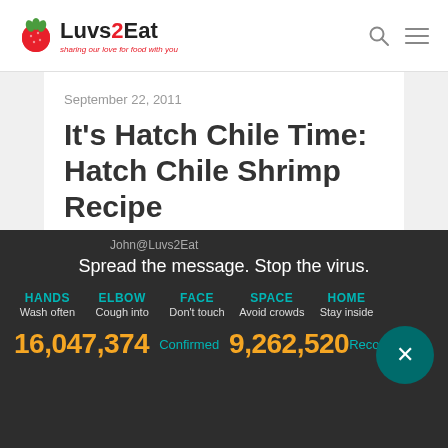Luvs2Eat — sharing our love for food with you
September 22, 2011
It's Hatch Chile Time: Hatch Chile Shrimp Recipe
John@Luvs2Eat
Spread the message. Stop the virus.
HANDS Wash often | ELBOW Cough into | FACE Don't touch | SPACE Avoid crowds | HOME Stay inside
16,047,374 Confirmed  9,262,520 Recovered